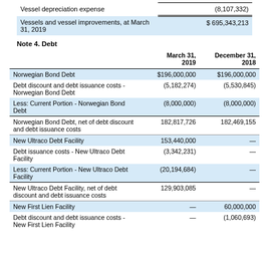|  |  |
| --- | --- |
| Vessel depreciation expense | (8,107,332) |
| Vessels and vessel improvements, at March 31, 2019 | $695,343,213 |
Note 4. Debt
|  | March 31, 2019 | December 31, 2018 |
| --- | --- | --- |
| Norwegian Bond Debt | $196,000,000 | $196,000,000 |
| Debt discount and debt issuance costs - Norwegian Bond Debt | (5,182,274) | (5,530,845) |
| Less: Current Portion - Norwegian Bond Debt | (8,000,000) | (8,000,000) |
| Norwegian Bond Debt, net of debt discount and debt issuance costs | 182,817,726 | 182,469,155 |
| New Ultraco Debt Facility | 153,440,000 | — |
| Debt issuance costs - New Ultraco Debt Facility | (3,342,231) | — |
| Less: Current Portion - New Ultraco Debt Facility | (20,194,684) | — |
| New Ultraco Debt Facility, net of debt discount and debt issuance costs | 129,903,085 | — |
| New First Lien Facility | — | 60,000,000 |
| Debt discount and debt issuance costs - New First Lien Facility | — | (1,060,693) |